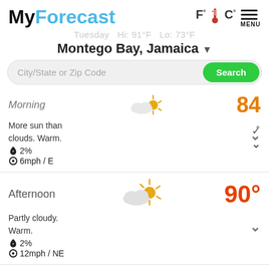MyForecast
Tuesday Hi: 91°F Lo: 73°F
Montego Bay, Jamaica
City/State or Zip Code
Morning 84
More sun than clouds. Warm.
🌂 2%
⊙6mph / E
Afternoon 90°
Partly cloudy. Warm.
🌂 2%
⊙12mph / NE